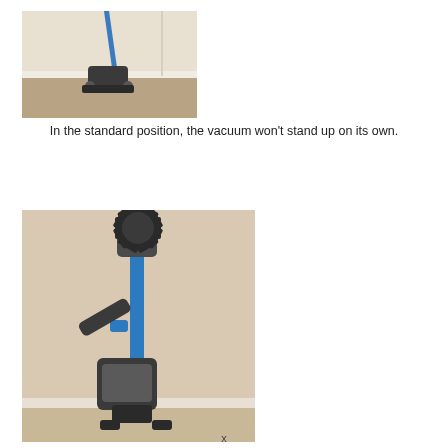[Figure (photo): A stick vacuum cleaner leaning against the corner of a room, resting on carpet near white baseboard. The vacuum has a dark grey head and blue accents.]
In the standard position, the vacuum won't stand up on its own.
[Figure (photo): Close-up photo of a stick vacuum cleaner's upper body and handle mechanism, showing blue pole, grey joints, and a round gear-like attachment at the top. The vacuum is standing upright against a beige wall.]
x